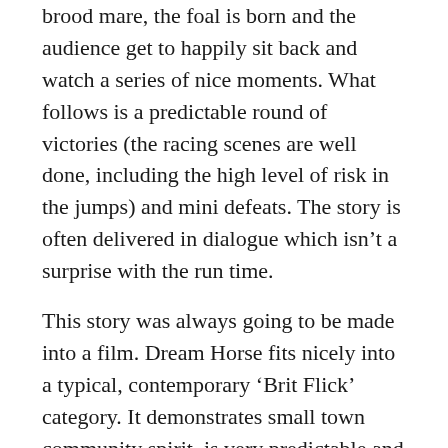brood mare, the foal is born and the audience get to happily sit back and watch a series of nice moments. What follows is a predictable round of victories (the racing scenes are well done, including the high level of risk in the jumps) and mini defeats. The story is often delivered in dialogue which isn't a surprise with the run time.
This story was always going to be made into a film. Dream Horse fits nicely into a typical, contemporary 'Brit Flick' category. It demonstrates small town community spirit, is very predictable and inevitably has a happy ending. Alongside Collette, Owen Teale plays her husband and Damian Lewis plays Howard Davies, a local tax accountant who's passion for horse racing has created tension in his home life. This isn't a particularly in depth story, it's not going to challenge or provoke thought but it's a really lovely